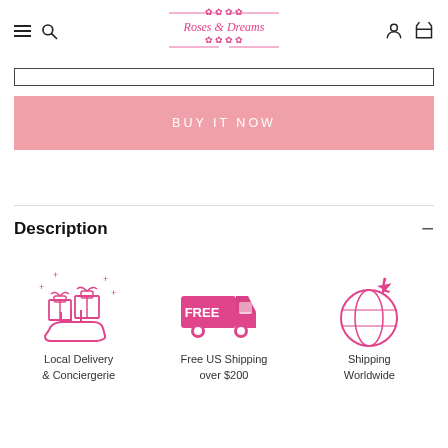Roses & Dreams — navigation header with menu, search, logo, account, cart icons
[Figure (illustration): Pink decorative floral logo for Roses & Dreams with script text]
[Figure (other): Text input box (empty)]
BUY IT NOW
Description
[Figure (illustration): Pink icon of a hand holding gift boxes with sparkles — Local Delivery & Conciergerie]
Local Delivery & Conciergerie
[Figure (illustration): Pink delivery truck with FREE label — Free US Shipping over $200]
Free US Shipping over $200
[Figure (illustration): Pink globe with airplane — Shipping Worldwide]
Shipping Worldwide